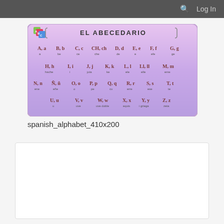🔍 Log In
[Figure (illustration): El Abecedario – Spanish alphabet chart showing all letters with their names in Spanish, arranged in rows on a purple gradient background. Row 1: A,a (a), B,b (be), C,c (ce), CH,ch (che), D,d (de), E,e (e), F,f (efe), G,g (ge). Row 2: H,h (hache), I,i (i), J,j (jota), K,k (ke), L,l (ele), Ll,ll (elle), M,m (eme). Row 3: N,n (ene), Ñ,ñ (eñe), O,o (o), P,p (pe), Q,q (cu), R,r (erre), S,s (ese), T,t (te). Row 4: U,u (u), V,v (uve), W,w (uve doble), X,x (equis), Y,y (i griega), Z,z (zeta).]
spanish_alphabet_410x200